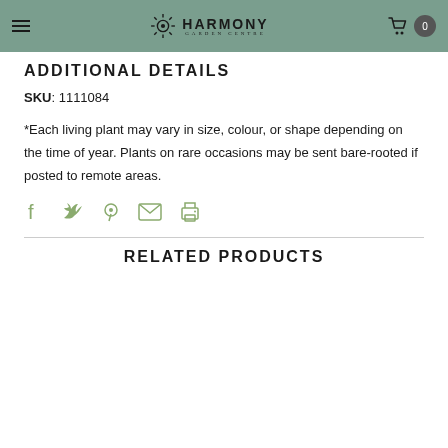Harmony Garden Centre
ADDITIONAL DETAILS
SKU: 1111084
*Each living plant may vary in size, colour, or shape depending on the time of year. Plants on rare occasions may be sent bare-rooted if posted to remote areas.
[Figure (other): Social sharing icons: Facebook, Twitter, Pinterest, Email, Print]
RELATED PRODUCTS